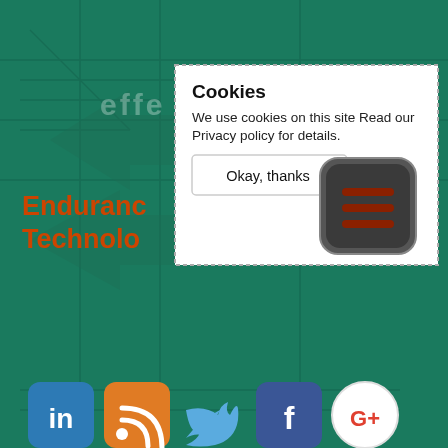[Figure (screenshot): Website screenshot showing Endurance Technologies logo, cookie consent popup, social media icons (LinkedIn, RSS, Twitter, Facebook, Google+), and a circuit board with keyboard Home key image. Green teal background with circuit board pattern.]